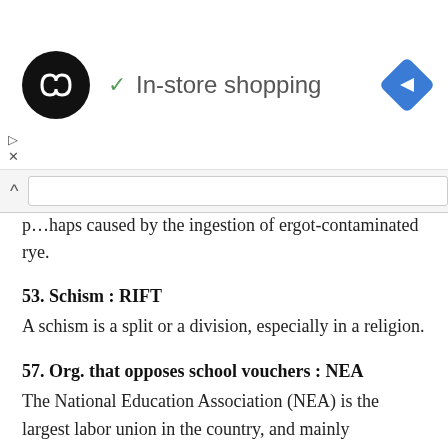[Figure (logo): Ad banner with circular black logo with infinity-like symbol, checkmark and 'In-store shopping' text, and blue navigation diamond icon]
perhaps caused by the ingestion of ergot-contaminated rye.
53. Schism : RIFT
A schism is a split or a division, especially in a religion.
57. Org. that opposes school vouchers : NEA
The National Education Association (NEA) is the largest labor union in the country, and mainly represents public school teachers.
Share today's solution with a friend:
[Figure (logo): Facebook logo circle icon in blue]